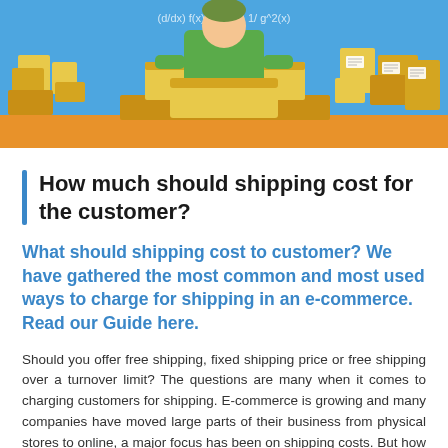[Figure (illustration): E-commerce themed illustration showing a warehouse worker surrounded by cardboard boxes with shipping labels, against a blue background. Mathematical formula text visible at top: (d/dx) f(x)/g(x) ... 3c) 1/ g^2(x)]
How much should shipping cost for the customer?
What should shipping cost to customer? We have gathered the most common and most used ways to charge for shipping in an e-commerce. Read our Guide here.
Should you offer free shipping, fixed shipping price or free shipping over a turnover limit? The questions are many when it comes to charging customers for shipping. E-commerce is growing and many companies have moved large parts of their business from physical stores to online, a major focus has been on shipping costs. But how should one really price their freight to increase sales and increase customer satisfaction when many customers seem to place more emphasis on the shipping cost